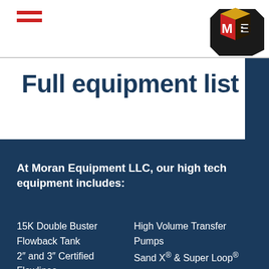[Figure (logo): Moran Equipment LLC logo - stylized ME letters with red, gold, black and white cube/box shapes]
Full equipment list
At Moran Equipment LLC, our high tech equipment includes:
15K Double Buster Flowback Tank
2″ and 3″ Certified Flowlines
Choke Manifolds
Gate Valve Manifolds
2″ and 3″ Adjustable
High Volume Transfer Pumps
Sand X® & Super Loop®
Hoses and water manifolds
Air Compressors
Manlifts